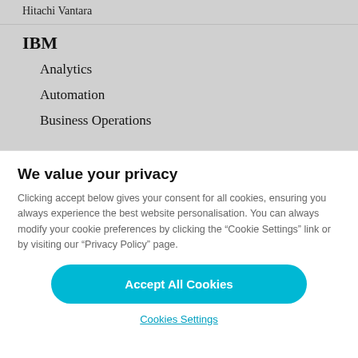Hitachi Vantara
IBM
Analytics
Automation
Business Operations
We value your privacy
Clicking accept below gives your consent for all cookies, ensuring you always experience the best website personalisation. You can always modify your cookie preferences by clicking the “Cookie Settings” link or by visiting our “Privacy Policy” page.
Accept All Cookies
Cookies Settings